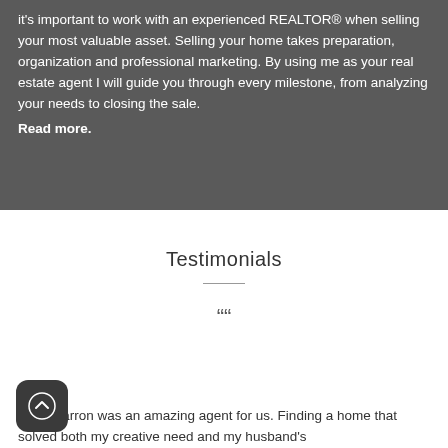it's important to work with an experienced REALTOR® when selling your most valuable asset. Selling your home takes preparation, organization and professional marketing. By using me as your real estate agent I will guide you through every milestone, from analyzing your needs to closing the sale.
Read more.
Testimonials
Chris Barron was an amazing agent for us. Finding a home that solved both my creative need and my husband's